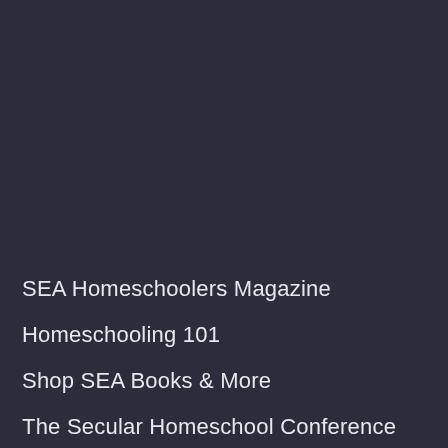SEA Homeschoolers Magazine
Homeschooling 101
Shop SEA Books & More
The Secular Homeschool Conference